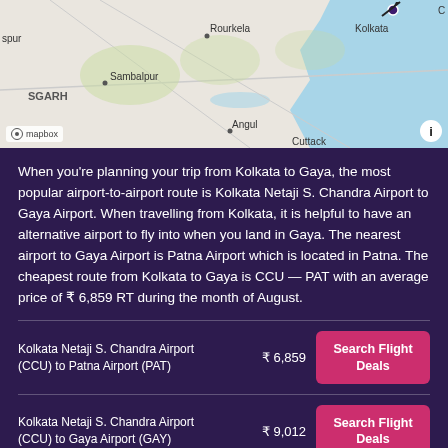[Figure (map): Map showing eastern India region including Kolkata, Rourkela, Sambalpur, Angul, Cuttack areas with Mapbox attribution]
When you're planning your trip from Kolkata to Gaya, the most popular airport-to-airport route is Kolkata Netaji S. Chandra Airport to Gaya Airport. When travelling from Kolkata, it is helpful to have an alternative airport to fly into when you land in Gaya. The nearest airport to Gaya Airport is Patna Airport which is located in Patna. The cheapest route from Kolkata to Gaya is CCU — PAT with an average price of ₹ 6,859 RT during the month of August.
| Route | Price | Action |
| --- | --- | --- |
| Kolkata Netaji S. Chandra Airport (CCU) to Patna Airport (PAT) | ₹ 6,859 | Search Flight Deals |
| Kolkata Netaji S. Chandra Airport (CCU) to Gaya Airport (GAY) | ₹ 9,012 | Search Flight Deals |